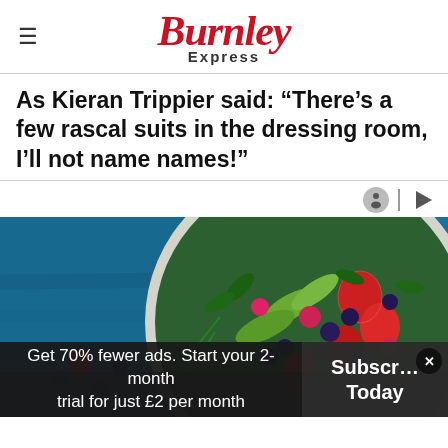Burnley Express
As Kieran Trippier said: “There’s a few rascal suits in the dressing room, I’ll not name names!”
[Figure (photo): A bowl/plate with fruit salad including strawberries, blueberries, raspberries, avocado slices and green herbs on a blue wooden table background]
Get 70% fewer ads. Start your 2-month trial for just £2 per month
Subscribe Today